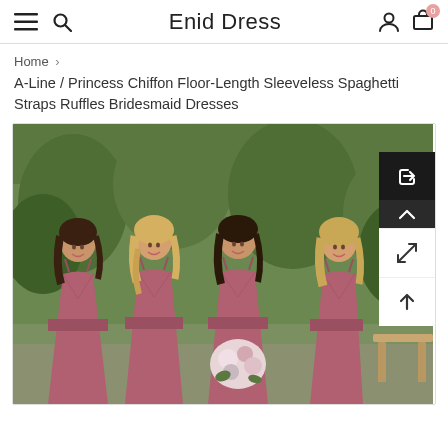Enid Dress
Home > A-Line / Princess Chiffon Floor-Length Sleeveless Spaghetti Straps Ruffles Bridesmaid Dresses
A-Line / Princess Chiffon Floor-Length Sleeveless Spaghetti Straps Ruffles Bridesmaid Dresses
[Figure (photo): Four bridesmaids wearing dusty rose/mauve spaghetti strap V-neck floor-length chiffon dresses, standing outdoors with greenery in the background. One bridesmaid holds a floral bouquet.]